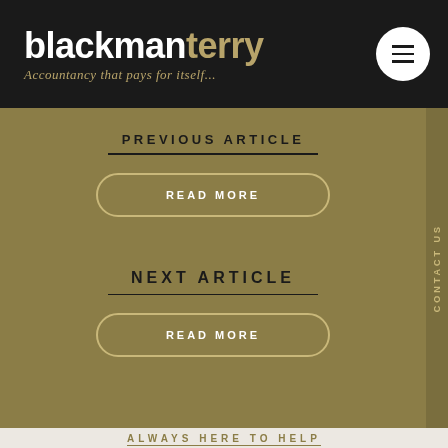[Figure (logo): Blackman Terry logo with tagline 'Accountancy that pays for itself...' on dark background]
PREVIOUS ARTICLE
READ MORE
NEXT ARTICLE
READ MORE
CONTACT US
ALWAYS HERE TO HELP